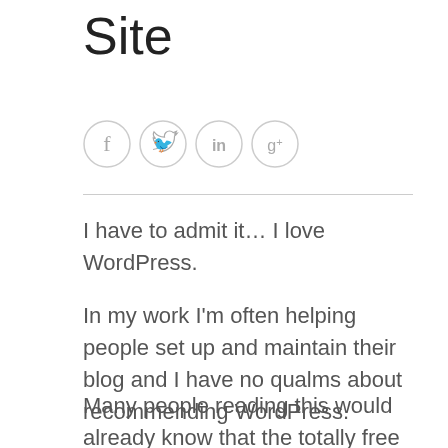Site
[Figure (other): Four social media icons in circles: Facebook (f), Twitter (bird), LinkedIn (in), Google+ (g+)]
I have to admit it… I love WordPress.
In my work I'm often helping people set up and maintain their blog and I have no qualms about recommending WordPress.
Many people reading this would already know that the totally free option is WordPress.com, where